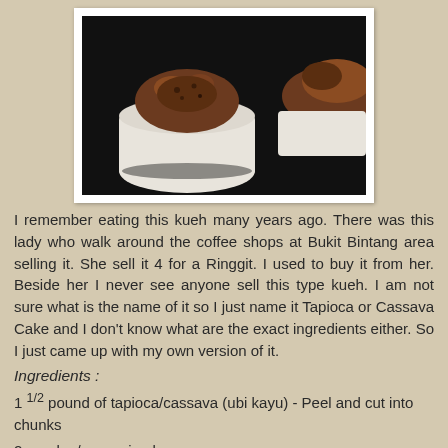[Figure (photo): Two white cassava/tapioca cakes with brown coconut topping on a dark background, photographed close-up]
I remember eating this kueh many years ago. There was this lady who walk around the coffee shops at Bukit Bintang area selling it. She sell it 4 for a Ringgit. I used to buy it from her. Beside her I never see anyone sell this type kueh. I am not sure what is the name of it so I just name it Tapioca or Cassava Cake and I don't know what are the exact ingredients either. So I just came up with my own version of it.
Ingredients :
1 1/2 pound of tapioca/cassava (ubi kayu) - Peel and cut into chunks
2 pandan/screwpine leaves